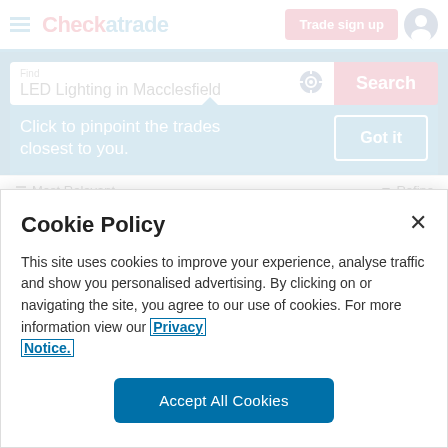Checkatrade — Trade sign up [user icon]
Find
LED Lighting in Macclesfield
Search
Click to pinpoint the trades closest to you.
Got it
Most Relevant   Refine
Cookie Policy
This site uses cookies to improve your experience, analyse traffic and show you personalised advertising. By clicking on or navigating the site, you agree to our use of cookies. For more information view our Privacy Notice.
Accept All Cookies